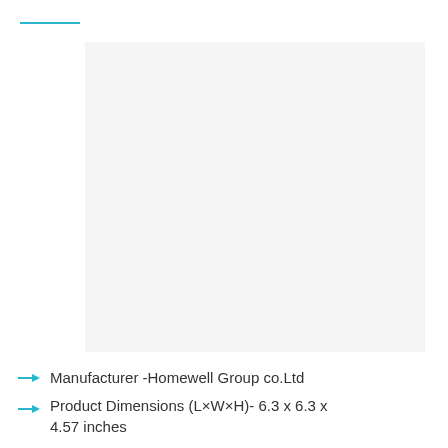[Figure (photo): Product photo placeholder — light gray rectangle representing a product image]
Manufacturer -Homewell Group co.Ltd
Product Dimensions (L×W×H)- 6.3 x 6.3 x 4.57 inches